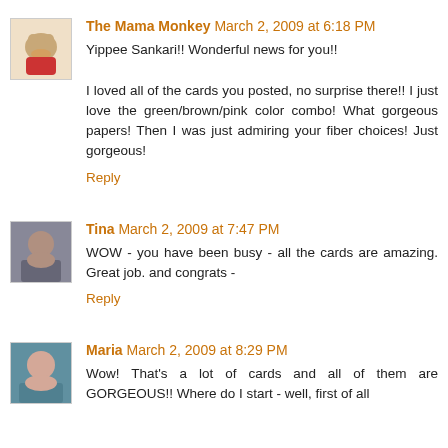The Mama Monkey March 2, 2009 at 6:18 PM
Yippee Sankari!! Wonderful news for you!!
I loved all of the cards you posted, no surprise there!! I just love the green/brown/pink color combo! What gorgeous papers! Then I was just admiring your fiber choices! Just gorgeous!
Reply
Tina March 2, 2009 at 7:47 PM
WOW - you have been busy - all the cards are amazing. Great job. and congrats -
Reply
Maria March 2, 2009 at 8:29 PM
Wow! That's a lot of cards and all of them are GORGEOUS!! Where do I start - well, first of all